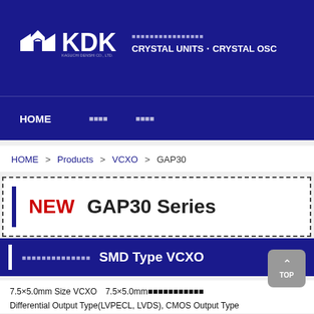KDK — CRYSTAL UNITS・CRYSTAL OSC
[Figure (logo): KDK logo with stylized building icon and company name in white on dark blue background]
CRYSTAL UNITS・CRYSTAL OSC
HOME　　製品情報　　会社情報
HOME > Products > VCXO > GAP30
NEW   GAP30 Series
電圧制御水晶発振器　SMD Type VCXO
7.5×5.0mm Size VCXO　7.5×5.0mmサイズの水晶発振器
Differential Output Type(LVPECL, LVDS), CMOS Output Type